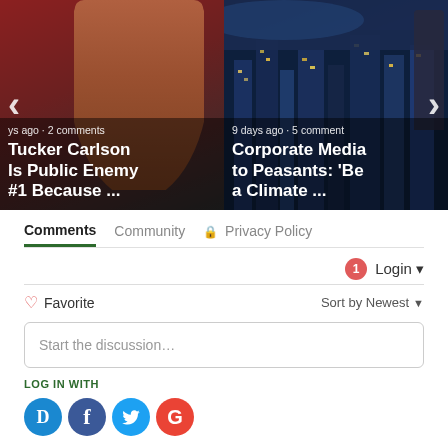[Figure (screenshot): Carousel card 1: Photo of Tucker Carlson with red background. Overlay text: 'ys ago • 2 comments' and title 'Tucker Carlson Is Public Enemy #1 Because ...'. Left navigation arrow visible.]
[Figure (screenshot): Carousel card 2: Aerial night city photo with skyscrapers. Overlay text: '9 days ago • 5 comment' and title 'Corporate Media to Peasants: 'Be a Climate ...'. Right navigation arrow visible.]
Comments   Community   🔒 Privacy Policy
1   Login ▾
♡ Favorite   Sort by Newest ▾
Start the discussion...
LOG IN WITH